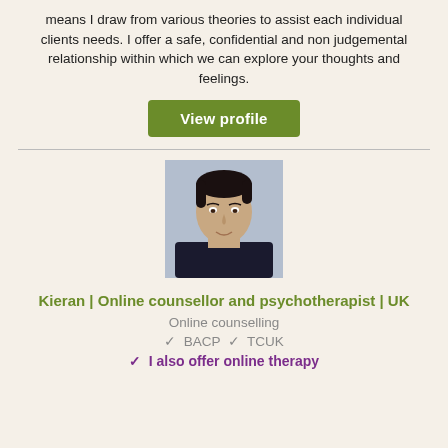means I draw from various theories to assist each individual clients needs. I offer a safe, confidential and non judgemental relationship within which we can explore your thoughts and feelings.
View profile
[Figure (photo): Headshot photo of Kieran, a man with dark hair wearing a dark shirt against a grey-blue background]
Kieran | Online counsellor and psychotherapist | UK
Online counselling
✓  BACP  ✓  TCUK
✓  I also offer online therapy